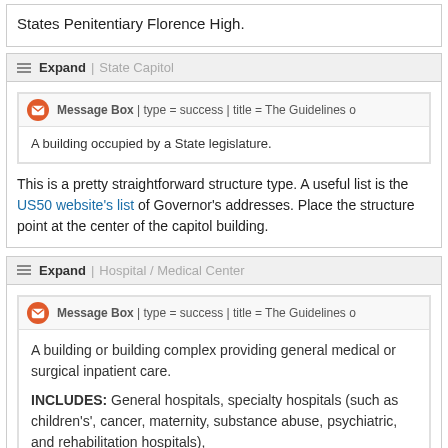States Penitentiary Florence High.
Expand | State Capitol
Message Box | type = success | title = The Guidelines o
A building occupied by a State legislature.
This is a pretty straightforward structure type. A useful list is the US50 website's list of Governor's addresses. Place the structure point at the center of the capitol building.
Expand | Hospital / Medical Center
Message Box | type = success | title = The Guidelines o
A building or building complex providing general medical or surgical inpatient care. INCLUDES: General hospitals, specialty hospitals (such as children's', cancer, maternity, substance abuse, psychiatric, and rehabilitation hospitals),